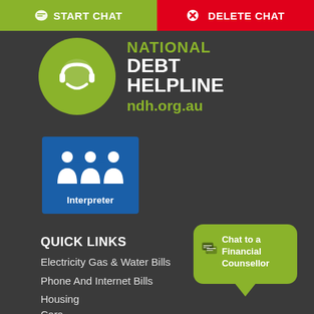[Figure (screenshot): Top navigation bar with START CHAT (green) and DELETE CHAT (red) buttons]
[Figure (logo): National Debt Helpline logo: green circle with white smiley face icon, text NATIONAL DEBT HELPLINE ndh.org.au]
[Figure (logo): Blue square Interpreter logo with three people icons and word Interpreter]
QUICK LINKS
Electricity Gas & Water Bills
Phone And Internet Bills
Housing
Cars
[Figure (illustration): Green speech bubble with chat icon and text: Chat to a Financial Counsellor]